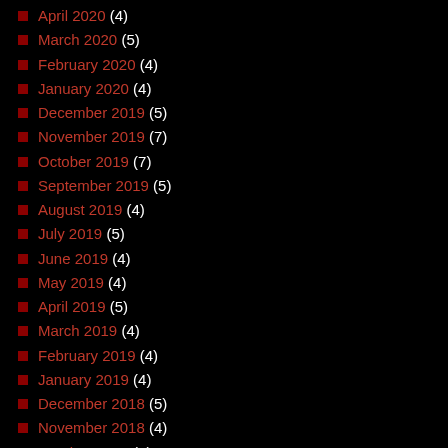April 2020 (4)
March 2020 (5)
February 2020 (4)
January 2020 (4)
December 2019 (5)
November 2019 (7)
October 2019 (7)
September 2019 (5)
August 2019 (4)
July 2019 (5)
June 2019 (4)
May 2019 (4)
April 2019 (5)
March 2019 (4)
February 2019 (4)
January 2019 (4)
December 2018 (5)
November 2018 (4)
October 2018 (5)
September 2018 (4)
August 2018 (4)
July 2018 (5)
June 2018 (4)